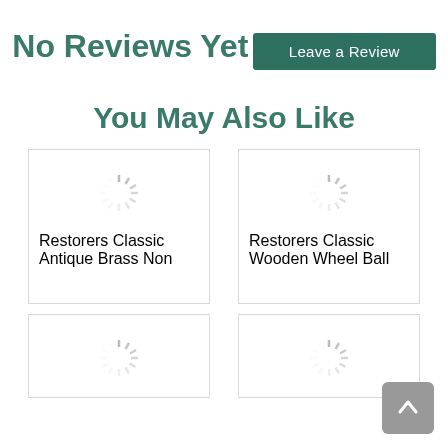No Reviews Yet
Leave a Review
You May Also Like
Restorers Classic Antique Brass Non
Restorers Classic Wooden Wheel Ball
[Figure (other): Loading spinner icon (partially visible card)]
[Figure (other): Loading spinner icon (partially visible card)]